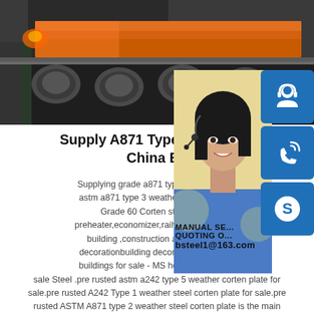[Figure (photo): Industrial steel mill machinery with orange/red hot steel slab on rollers]
[Figure (photo): Woman with headset smiling, customer service representative, overlaid on right side with blue icon boxes for chat, phone, and Skype, and contact email bsteel1@163.com]
Supply A871 Type 3 Weather S... China Buy
Supplying grade a871 type 1 weather ste... astm a871 type 3 weather proof steel sh... Grade 60 Corten steel widely preheater,economizer,railway carriage,con... building ,construction and so on.Get decorationbuilding decorationastm a871 buildings for sale - MS hot rolled a871 typ... sale Steel .pre rusted astm a242 type 5 weather corten plate for sale.pre rusted A242 Type 1 weather steel corten plate for sale.pre rusted ASTM A871 type 2 weather steel corten plate is the main product of Henan Bebon Iron Steel pre rusted ASTM A871 type 2 weather steel corten plate is mainly used in automobile or in the construction industry.